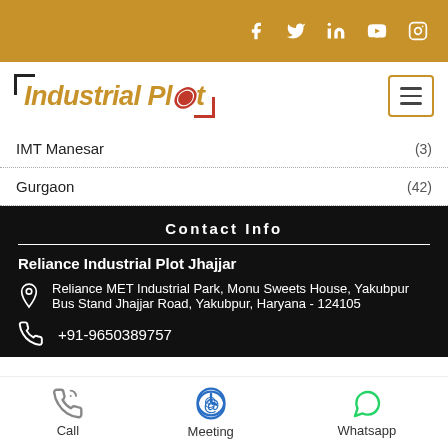Social media icons: f, twitter, in, youtube, instagram
[Figure (logo): Industrial Plot logo with location pin icon, black bracket decorations]
IMT Manesar (3)
Gurgaon (42)
Contact Info
Reliance Industrial Plot Jhajjar
Reliance MET Industrial Park, Monu Sweets House, Yakubpur Bus Stand Jhajjar Road, Yakubpur, Haryana - 124105
+91-9650389757
Call | Meeting | Whatsapp